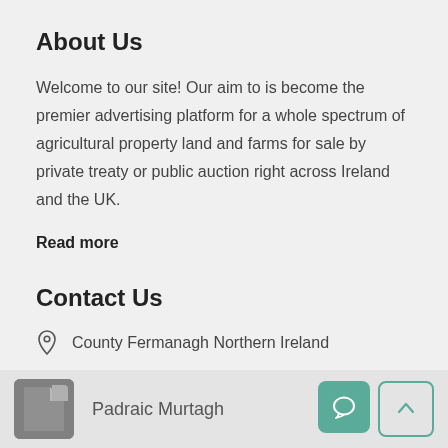About Us
Welcome to our site! Our aim to is become the premier advertising platform for a whole spectrum of agricultural property land and farms for sale by private treaty or public auction right across Ireland and the UK.
Read more
Contact Us
County Fermanagh Northern Ireland
Call us +353 1 254 2345
Padraic Murtagh